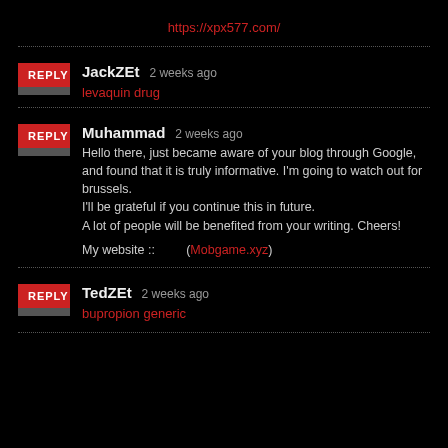https://xpx577.com/
JackZEt  2 weeks ago
levaquin drug
Muhammad  2 weeks ago
Hello there, just became aware of your blog through Google, and found that it is truly informative. I'm going to watch out for brussels.
I'll be grateful if you continue this in future.
A lot of people will be benefited from your writing. Cheers!
My website ::         (Mobgame.xyz)
TedZEt  2 weeks ago
bupropion generic